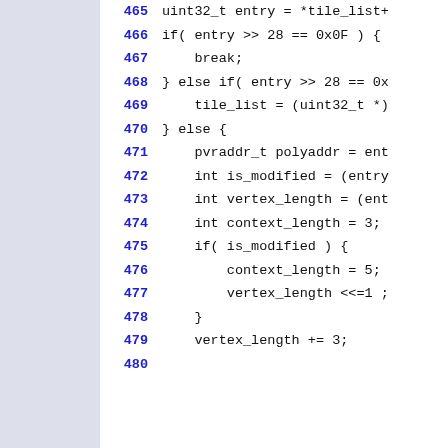465  uint32_t entry = *tile_list+
466  if( entry >> 28 == 0x0F ) {
467      break;
468  } else if( entry >> 28 == 0x
469      tile_list = (uint32_t *)
470  } else {
471      pvraddr_t polyaddr = ent
472      int is_modified = (entry
473      int vertex_length = (ent
474      int context_length = 3;
475      if( is_modified ) {
476          context_length = 5;
477          vertex_length <<=1 ;
478      }
479      vertex_length += 3;
480